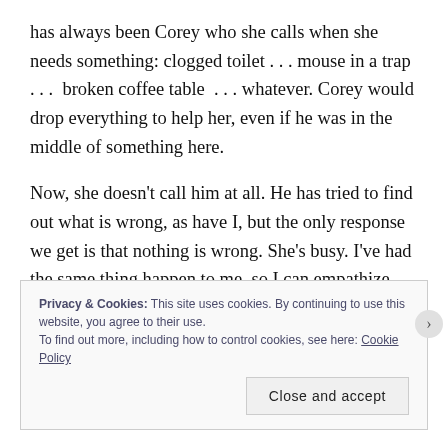has always been Corey who she calls when she needs something: clogged toilet . . . mouse in a trap . . .  broken coffee table  . . . whatever. Corey would drop everything to help her, even if he was in the middle of something here.
Now, she doesn't call him at all. He has tried to find out what is wrong, as have I, but the only response we get is that nothing is wrong. She's busy. I've had the same thing happen to me, so I can empathize with what Corey is feeling: frustrated from the lack of information and the ways in which his attempts at reconciliation have been
Privacy & Cookies: This site uses cookies. By continuing to use this website, you agree to their use.
To find out more, including how to control cookies, see here: Cookie Policy
Close and accept